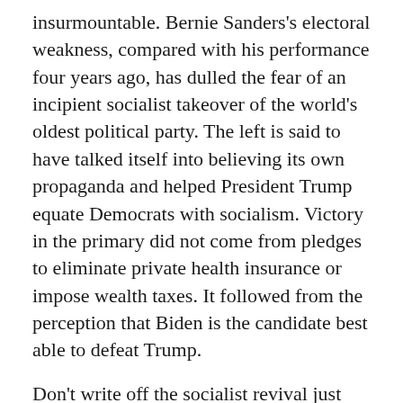insurmountable. Bernie Sanders's electoral weakness, compared with his performance four years ago, has dulled the fear of an incipient socialist takeover of the world's oldest political party. The left is said to have talked itself into believing its own propaganda and helped President Trump equate Democrats with socialism. Victory in the primary did not come from pledges to eliminate private health insurance or impose wealth taxes. It followed from the perception that Biden is the candidate best able to defeat Trump.
Don't write off the socialist revival just yet. Sanders might not win the Democratic nomination. But this outcome does not mean the forces that propelled him to second-place finishes in the two most recent Democratic primaries will vanish overnight. Abandoning the intellectual fight against socialism, both inside and outside the Democratic Party, would cede the field to an